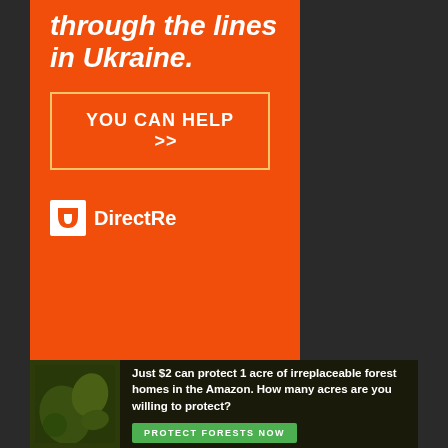[Figure (infographic): Orange banner advertisement for Direct Relief showing text 'through the lines in Ukraine.' with a 'YOU CAN HELP >>' button and the Direct Relief logo]
DMCA
Terms & Conditions
Privacy Policy
Contact Us
[Figure (infographic): Green banner advertisement: 'Just $2 can protect 1 acre of irreplaceable forest homes in the Amazon. How many acres are you willing to protect?' with a 'PROTECT FORESTS NOW' button]